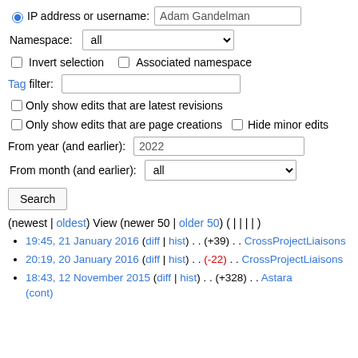IP address or username: Adam Gandelman
Namespace: all
Invert selection  Associated namespace
Tag filter:
Only show edits that are latest revisions
Only show edits that are page creations  Hide minor edits
From year (and earlier): 2022
From month (and earlier): all
Search
(newest | oldest) View (newer 50 | older 50) ( | | | | )
19:45, 21 January 2016 (diff | hist) . . (+39) . . CrossProjectLiaisons
20:19, 20 January 2016 (diff | hist) . . (-22) . . CrossProjectLiaisons
18:43, 12 November 2015 (diff | hist) . . (+328) . . Astara (cont)